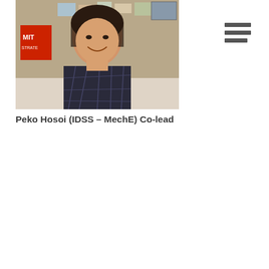[Figure (photo): Portrait photo of a smiling woman with dark hair, wearing a sleeveless black geometric-patterned top, standing in front of a bulletin board with papers and an MIT sign visible in the background.]
Peko Hosoi (IDSS – MechE) Co-lead